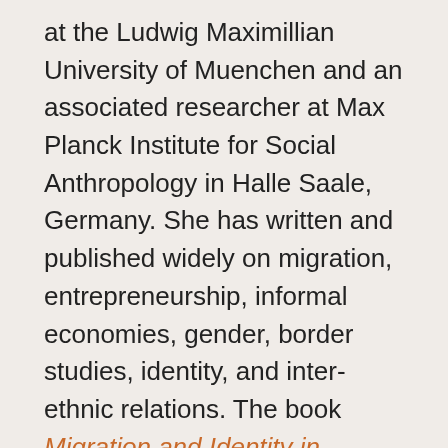at the Ludwig Maximillian University of Muenchen and an associated researcher at Max Planck Institute for Social Anthropology in Halle Saale, Germany. She has written and published widely on migration, entrepreneurship, informal economies, gender, border studies, identity, and inter-ethnic relations. The book Migration and Identity in Central Asia: The Uzbek Experience is based on her PhD thesis, and she co-edited Labour, Mobility and Informal Practices in Russia, Central Asia and Eastern Europe: Power, Institutions and Mobile Actors in Transnational Space. She is currently working on a second book on Migration and Islam in Russia. Her research includes the